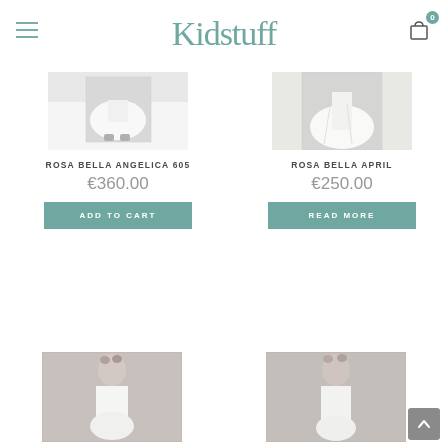Kidstuff
[Figure (photo): White dress/shoes photo for Rosa Bella Angelica 605]
ROSA BELLA ANGELICA 605
€360.00
ADD TO CART
[Figure (photo): White dress photo for Rosa Bella April]
ROSA BELLA APRIL
€250.00
READ MORE
[Figure (photo): Girl in dress photo (bottom left)]
[Figure (photo): Girl in dress photo (bottom right)]